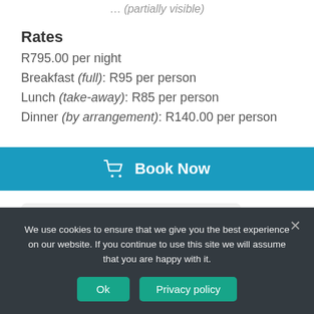Rates
R795.00 per night
Breakfast (full): R95 per person
Lunch (take-away): R85 per person
Dinner (by arrangement): R140.00 per person
[Figure (other): Blue 'Book Now' button with shopping cart icon]
Standard T&C's
We use cookies to ensure that we give you the best experience on our website. If you continue to use this site we will assume that you are happy with it.
Ok   Privacy policy